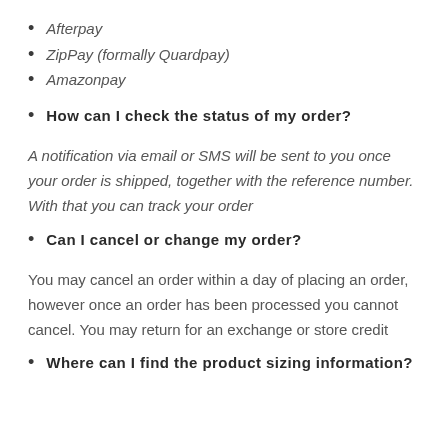Afterpay
ZipPay (formally Quardpay)
Amazonpay
How can I check the status of my order?
A notification via email or SMS will be sent to you once your order is shipped, together with the reference number. With that you can track your order
Can I cancel or change my order?
You may cancel an order within a day of placing an order, however once an order has been processed you cannot cancel. You may return for an exchange or store credit
Where can I find the product sizing information?